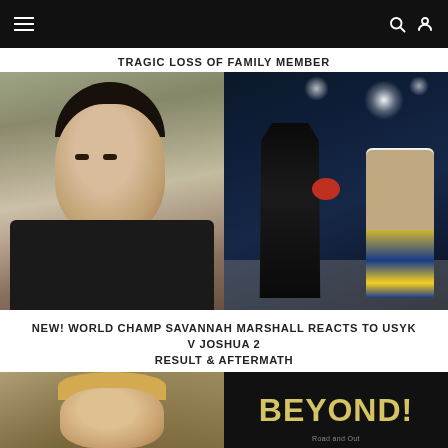Navigation bar with hamburger menu, search and user icons
TRAGIC LOSS OF FAMILY MEMBER
[Figure (photo): Left: close-up portrait of Savannah Marshall, female boxer with dark hair pulled back, wearing dark jacket, smiling. Right: boxing match action shot of Joshua vs Usyk, two boxers exchanging punches in the ring under arena lights.]
NEW! WORLD CHAMP SAVANNAH MARSHALL REACTS TO USYK V JOSHUA 2 RESULT & AFTERMATH
[Figure (photo): Bottom strip showing two partial images: left side shows a man (blond hair, partial face), right side shows large bold text 'BEYOND!' in gold/yellow on dark background.]